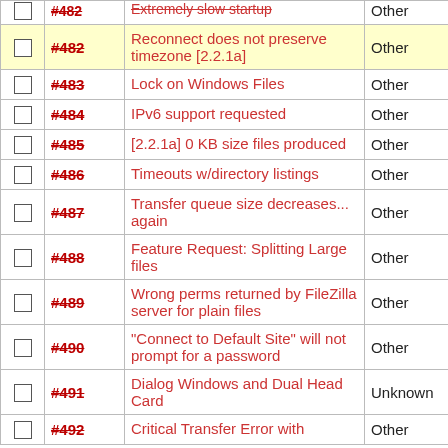|  | ID | Description | Category |
| --- | --- | --- | --- |
| ☐ | #482 | Reconnect does not preserve timezone [2.2.1a] | Other |
| ☐ | #483 | Lock on Windows Files | Other |
| ☐ | #484 | IPv6 support requested | Other |
| ☐ | #485 | [2.2.1a] 0 KB size files produced | Other |
| ☐ | #486 | Timeouts w/directory listings | Other |
| ☐ | #487 | Transfer queue size decreases... again | Other |
| ☐ | #488 | Feature Request: Splitting Large files | Other |
| ☐ | #489 | Wrong perms returned by FileZilla server for plain files | Other |
| ☐ | #490 | "Connect to Default Site" will not prompt for a password | Other |
| ☐ | #491 | Dialog Windows and Dual Head Card | Unknown |
| ☐ | #492 | Critical Transfer Error with | Other |